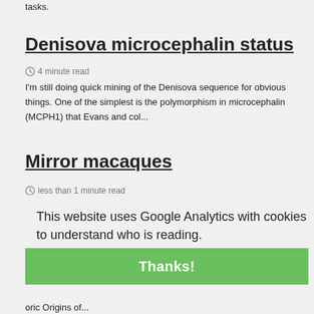the visual cortex of blind subjects takes on language specific processing tasks.
Denisova microcephalin status
4 minute read
I'm still doing quick mining of the Denisova sequence for obvious things. One of the simplest is the polymorphism in microcephalin (MCPH1) that Evans and col...
Mirror macaques
less than 1 minute read
Carl Zimmer reports on last week's study showing rhesus macaques
This website uses Google Analytics with cookies to understand who is reading.
Privacy policy
Thanks!
Origins of...